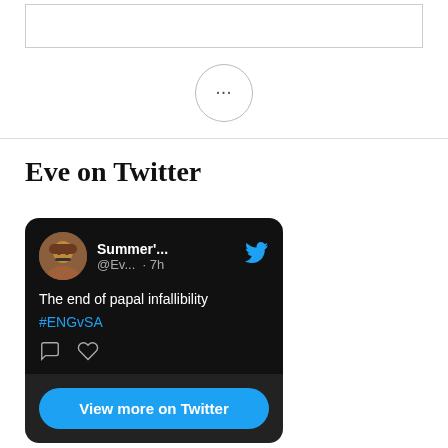[Figure (screenshot): Empty white rectangular box at top of page]
[Figure (other): Circle with three dots (ellipsis/more options button)]
Eve on Twitter
[Figure (screenshot): Embedded Twitter/X dark-mode tweet card showing user Summer'... @Ev... · 7h with tweet text 'The end of papal infallibility #ENGvSA' with reply and like icons, and a 'View more on Twitter' button below]